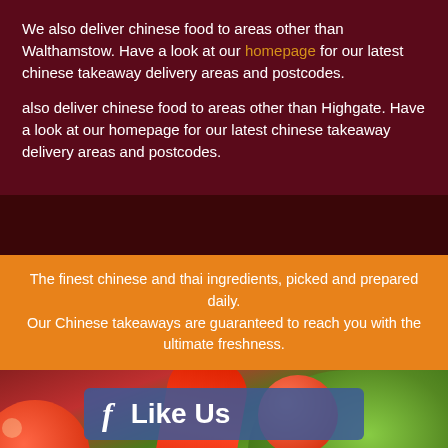We also deliver chinese food to areas other than Walthamstow. Have a look at our homepage for our latest chinese takeaway delivery areas and postcodes.
also deliver chinese food to areas other than Highgate. Have a look at our homepage for our latest chinese takeaway delivery areas and postcodes.
The finest chinese and thai ingredients, picked and prepared daily. Our Chinese takeaways are guaranteed to reach you with the ultimate freshness.
[Figure (infographic): Food photo background with salad, tomatoes, and red pepper, overlaid with Facebook 'Like Us' and Twitter 'Follow Us' social media buttons]